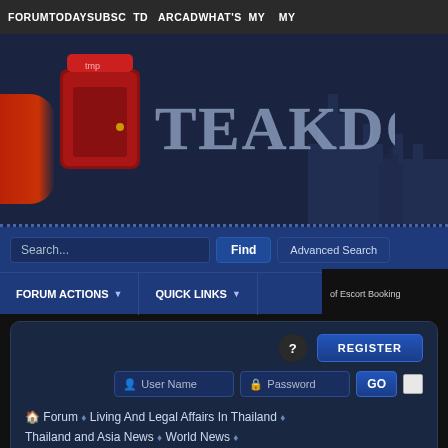FORUM TODAY SUBSC TD ARCAD WHAT'S MY MY
[Figure (screenshot): TeakDoor forum website logo with red door icon and stylized text 'TeakDoor' on dark blue background with Bangkok skyline silhouette]
Search...  Find  Advanced Search
FORUM ACTIONS ▼  QUICK LINKS ▼  of Escort Booking
? REGISTER
User Name  Password  GO  [checkbox]
Forum ♦ Living And Legal Affairs In Thailand ♦ Thailand and Asia News ♦ World News ♦ Johnny Depp's wife accuses him of assault
If this is your first visit, be sure to check out the FAQ by clicking the link above. You may have to register before